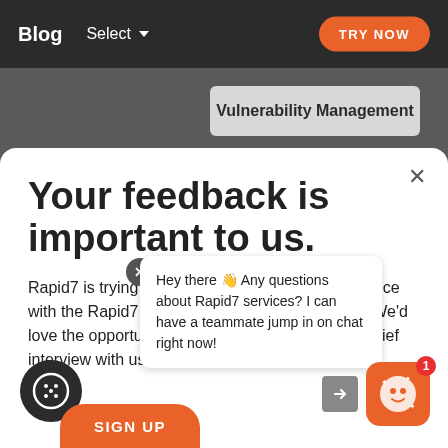Blog  Select  TRY NOW
Vulnerability Management
Detection and Response
Your feedback is important to us.
Rapid7 is trying to learn more about your experience with the Rapid7 blog to better serve your needs. We'd love the opportunity to have you participate in a brief interview with us to ga...
Hey there 👋 Any questions about Rapid7 services? I can have a teammate jump in on chat right now!
SIGN UP